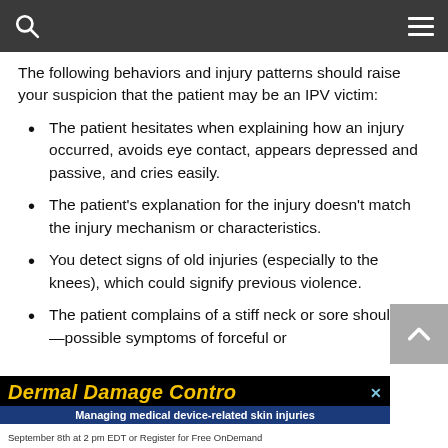Navigation bar with search and menu icons
The following behaviors and injury patterns should raise your suspicion that the patient may be an IPV victim:
The patient hesitates when explaining how an injury occurred, avoids eye contact, appears depressed and passive, and cries easily.
The patient's explanation for the injury doesn't match the injury mechanism or characteristics.
You detect signs of old injuries (especially to the knees), which could signify previous violence.
The patient complains of a stiff neck or sore shoulders—possible symptoms of forceful or
[Figure (screenshot): Advertisement banner for 'Dermal Damage Control - Managing medical device-related skin injuries', September 8th at 2 pm EDT or Register for Free OnDemand]